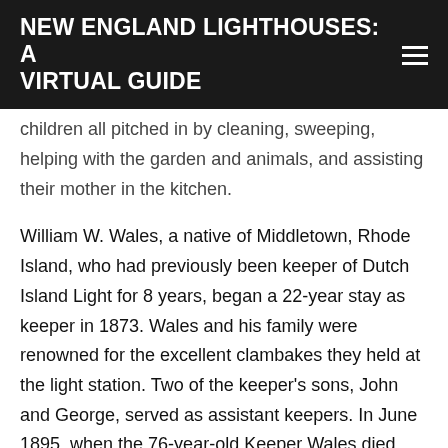NEW ENGLAND LIGHTHOUSES: A VIRTUAL GUIDE
children all pitched in by cleaning, sweeping, helping with the garden and animals, and assisting their mother in the kitchen.
William W. Wales, a native of Middletown, Rhode Island, who had previously been keeper of Dutch Island Light for 8 years, began a 22-year stay as keeper in 1873. Wales and his family were renowned for the excellent clambakes they held at the light station. Two of the keeper's sons, John and George, served as assistant keepers. In June 1895, when the 76-year-old Keeper Wales died, the Newport Daily News reported:
Captain Wales will be missed by a large circle of friends, as he had an extensive acquaintance, Beavertail